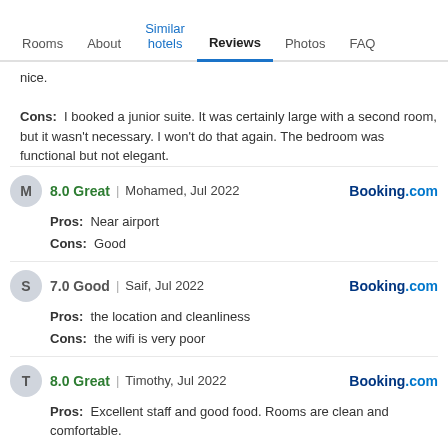Rooms | About | Similar hotels | Reviews | Photos | FAQ
nice.
Cons: I booked a junior suite. It was certainly large with a second room, but it wasn't necessary. I won't do that again. The bedroom was functional but not elegant.
8.0 Great | Mohamed, Jul 2022 — Booking.com
Pros: Near airport
Cons: Good
7.0 Good | Saif, Jul 2022 — Booking.com
Pros: the location and cleanliness
Cons: the wifi is very poor
8.0 Great | Timothy, Jul 2022 — Booking.com
Pros: Excellent staff and good food. Rooms are clean and comfortable.
Cons: Internet is unpredictable. Hot water doesn't last long so 60 second showers are your best bet.
10.0 Excellent | Malaki, Jun 2022 — Booking.com